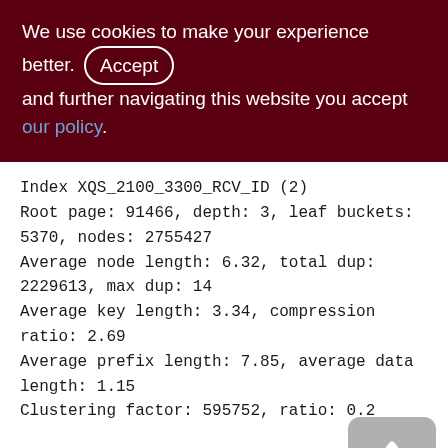We use cookies to make your experience better. By accepting and further navigating this website you accept our policy.
Index XQS_2100_3300_RCV_ID (2)
Root page: 91466, depth: 3, leaf buckets: 5370, nodes: 2755427
Average node length: 6.32, total dup: 2229613, max dup: 14
Average key length: 3.34, compression ratio: 2.69
Average prefix length: 7.85, average data length: 1.15
Clustering factor: 595752, ratio: 0.2
Fill distribution:
0 - 19% = 173